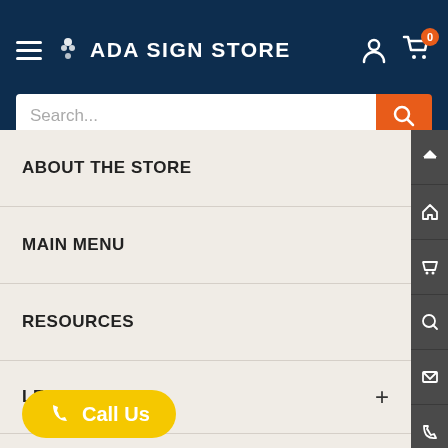ADA SIGN STORE
[Figure (screenshot): Search bar with orange search button]
ABOUT THE STORE
MAIN MENU
RESOURCES
LEGAL
[Figure (infographic): Yellow Call Us button with phone icon]